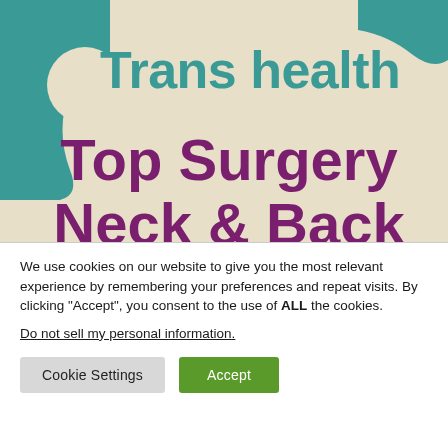[Figure (illustration): Decorative header banner with beige/cream background and teal organic blob shapes in the top-left and top-right corners. Contains the text 'Trans health' in teal and 'Top Surgery Neck & Back' in dark purple/maroon bold text.]
Trans health
Top Surgery Neck & Back
We use cookies on our website to give you the most relevant experience by remembering your preferences and repeat visits. By clicking “Accept”, you consent to the use of ALL the cookies.
Do not sell my personal information.
Cookie Settings
Accept